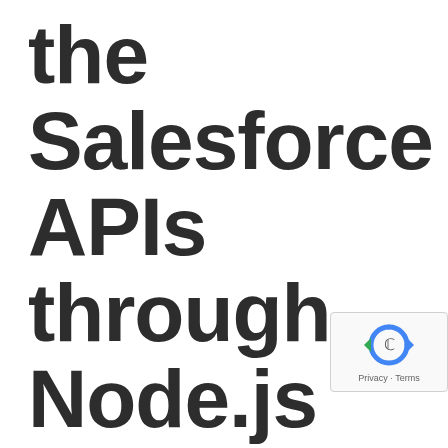the Salesforce APIs through Node.js
[Figure (logo): reCAPTCHA logo with privacy and terms text]